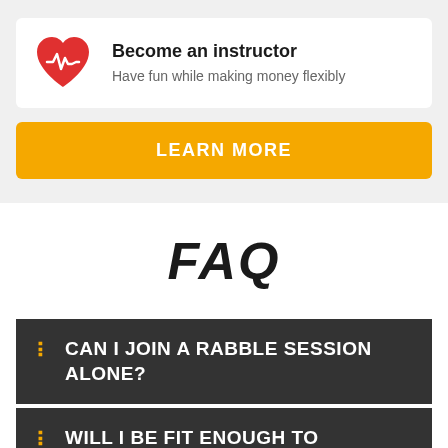[Figure (illustration): Red heart icon with a heartbeat/pulse line on it]
Become an instructor
Have fun while making money flexibly
LEARN MORE
FAQ
CAN I JOIN A RABBLE SESSION ALONE?
WILL I BE FIT ENOUGH TO